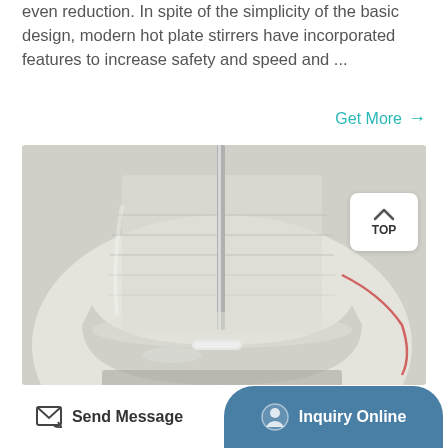even reduction. In spite of the simplicity of the basic design, modern hot plate stirrers have incorporated features to increase safety and speed and ...
Get More →
[Figure (photo): Close-up photo of a laboratory glass beaker containing a magnetic stir bar on a hot plate stirrer, with a stainless steel rod entering from the top. The beaker appears to contain a clear liquid with a small white magnetic stirring bar visible at the bottom.]
TOP (with up arrow icon)
Send Message
Inquiry Online